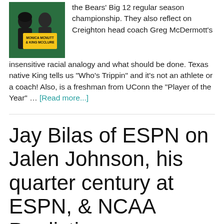[Figure (illustration): Podcast cover art showing illustrated figures of Monica McNutt and King McClure on a green background with yellow text reading 'MONICA MCNUTT & KING MCCLURE']
the Bears' Big 12 regular season championship. They also reflect on Creighton head coach Greg McDermott's insensitive racial analogy and what should be done. Texas native King tells us "Who's Trippin" and it's not an athlete or a coach! Also, is a freshman from UConn the "Player of the Year" … [Read more...]
Jay Bilas of ESPN on Jalen Johnson, his quarter century at ESPN, & NCAA Predictions